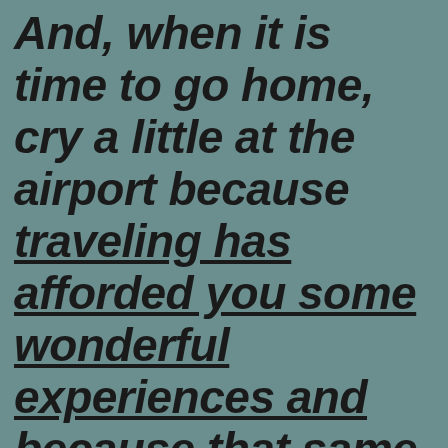And, when it is time to go home, cry a little at the airport because traveling has afforded you some wonderful experiences and because that same traveling has helped you affirm that you have a wonderful home to return to.